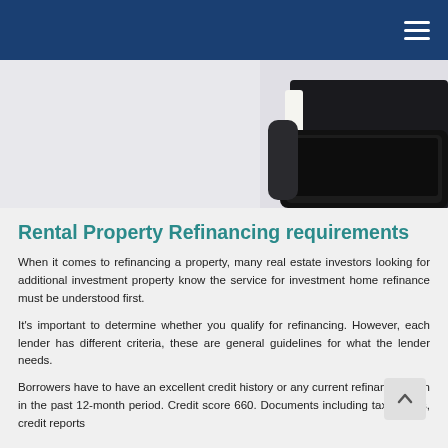[Figure (photo): Person in suit holding a laptop, partial view showing torso and hands, on a light gray background]
Rental Property Refinancing requirements
When it comes to refinancing a property, many real estate investors looking for additional investment property know the service for investment home refinance must be understood first.
It's important to determine whether you qualify for refinancing. However, each lender has different criteria, these are general guidelines for what the lender needs.
Borrowers have to have an excellent credit history or any current refinanced loan in the past 12-month period. Credit score 660. Documents including tax returns, credit reports